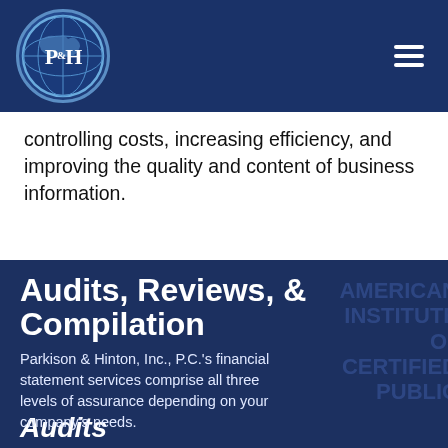[Figure (logo): P&H circular logo with globe/map design on dark blue background]
controlling costs, increasing efficiency, and improving the quality and content of business information.
Audits, Reviews, & Compilation
Parkison & Hinton, Inc., P.C.'s financial statement services comprise all three levels of assurance depending on your company's needs.
Audits